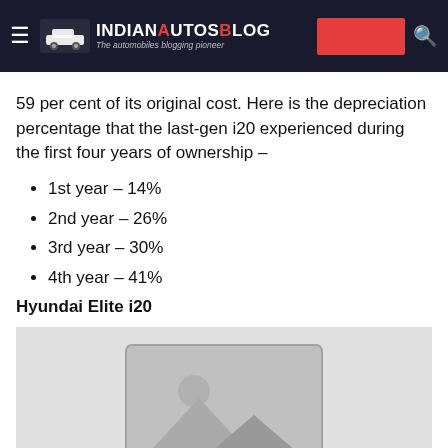IndianAutosBlog – The automobiles blogging pioneer
59 per cent of its original cost. Here is the depreciation percentage that the last-gen i20 experienced during the first four years of ownership –
1st year – 14%
2nd year – 26%
3rd year – 30%
4th year – 41%
Hyundai Elite i20
[Figure (photo): Placeholder image for Hyundai Elite i20 (image not loaded)]